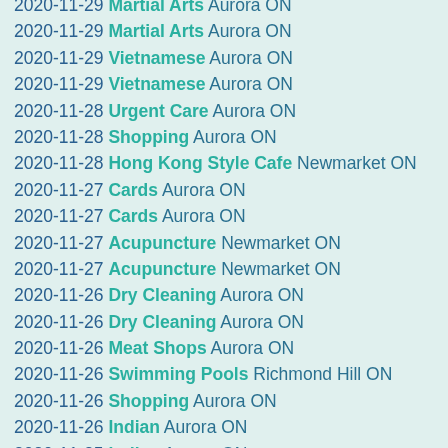2020-11-29 Martial Arts Aurora ON
2020-11-29 Martial Arts Aurora ON
2020-11-29 Vietnamese Aurora ON
2020-11-29 Vietnamese Aurora ON
2020-11-28 Urgent Care Aurora ON
2020-11-28 Shopping Aurora ON
2020-11-28 Hong Kong Style Cafe Newmarket ON
2020-11-27 Cards Aurora ON
2020-11-27 Cards Aurora ON
2020-11-27 Acupuncture Newmarket ON
2020-11-27 Acupuncture Newmarket ON
2020-11-26 Dry Cleaning Aurora ON
2020-11-26 Dry Cleaning Aurora ON
2020-11-26 Meat Shops Aurora ON
2020-11-26 Swimming Pools Richmond Hill ON
2020-11-26 Shopping Aurora ON
2020-11-26 Indian Aurora ON
2020-11-25 Indian Aurora ON
2020-11-25 Specialty Food Aurora ON
2020-11-25 Specialty Food Aurora ON
2020-11-25 Venues Aurora ON
2020-11-25 Venues Aurora ON